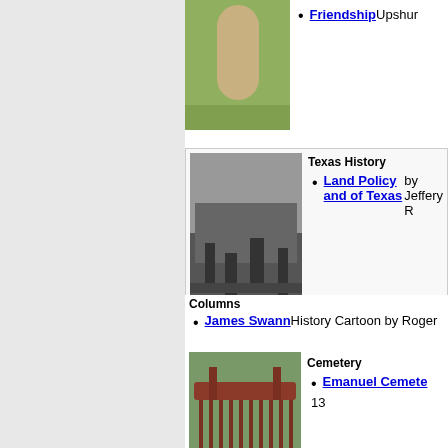[Figure (photo): Partial view of a silo or tower structure in a field]
Friendship Upshur
[Figure (photo): Historical black and white photo of cattle or livestock in a field scene - Texas History]
Texas History
Land Policy and of Texas by Jeffery R
[Figure (photo): An iron gate with red fence, cemetery entrance]
Cemetery
Emanuel Cemete 13
Columns
James Swann History Cartoon by Roger
[Figure (photo): Historical black and white illustration of Texas capitol building]